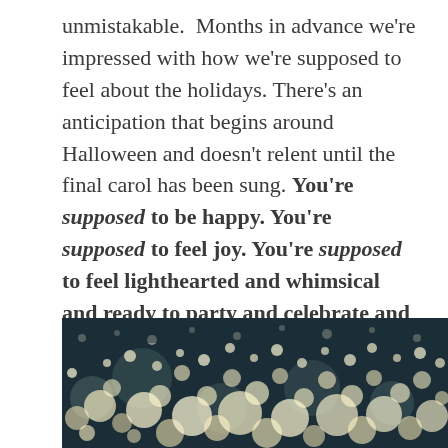unmistakable. Months in advance we're impressed with how we're supposed to feel about the holidays. There's an anticipation that begins around Halloween and doesn't relent until the final carol has been sung. You're supposed to be happy. You're supposed to feel joy. You're supposed to feel lighthearted and whimsical and ready to party and celebrate and exchange food and gifts and time and affection. So when you don't feel all these things, the only reasonable conclusion is there must be something wrong with you.
[Figure (photo): Bokeh photograph of warm glowing lights (likely fairy lights or bokeh holiday lights) against a dark teal/dark background, showing many small circular blurred light orbs in cream and pale gold colors.]